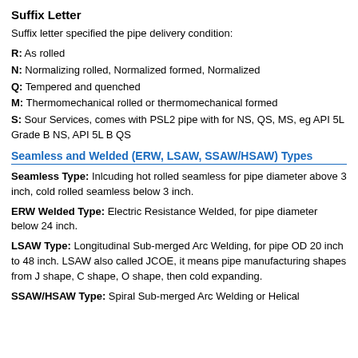Suffix Letter
Suffix letter specified the pipe delivery condition:
R: As rolled
N: Normalizing rolled, Normalized formed, Normalized
Q: Tempered and quenched
M: Thermomechanical rolled or thermomechanical formed
S: Sour Services, comes with PSL2 pipe with for NS, QS, MS, eg API 5L Grade B NS, API 5L B QS
Seamless and Welded (ERW, LSAW, SSAW/HSAW) Types
Seamless Type: Inlcuding hot rolled seamless for pipe diameter above 3 inch, cold rolled seamless below 3 inch.
ERW Welded Type: Electric Resistance Welded, for pipe diameter below 24 inch.
LSAW Type: Longitudinal Sub-merged Arc Welding, for pipe OD 20 inch to 48 inch. LSAW also called JCOE, it means pipe manufacturing shapes from J shape, C shape, O shape, then cold expanding.
SSAW/HSAW Type: Spiral Sub-merged Arc Welding or Helical